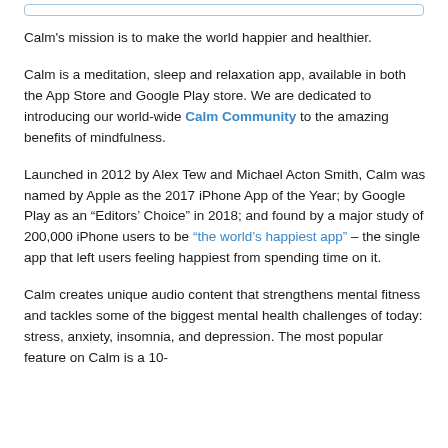Calm's mission is to make the world happier and healthier.
Calm is a meditation, sleep and relaxation app, available in both the App Store and Google Play store. We are dedicated to introducing our world-wide Calm Community to the amazing benefits of mindfulness.
Launched in 2012 by Alex Tew and Michael Acton Smith, Calm was named by Apple as the 2017 iPhone App of the Year; by Google Play as an “Editors’ Choice” in 2018; and found by a major study of 200,000 iPhone users to be “the world’s happiest app” – the single app that left users feeling happiest from spending time on it.
Calm creates unique audio content that strengthens mental fitness and tackles some of the biggest mental health challenges of today: stress, anxiety, insomnia, and depression. The most popular feature on Calm is a 10-